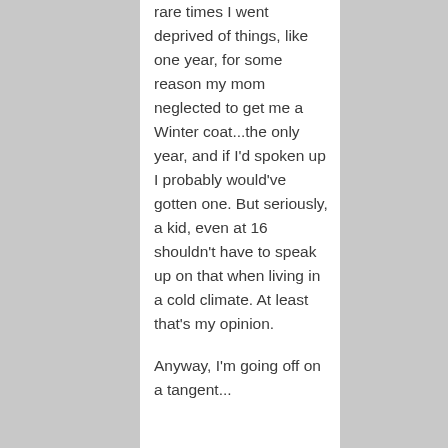rare times I went deprived of things, like one year, for some reason my mom neglected to get me a Winter coat...the only year, and if I'd spoken up I probably would've gotten one. But seriously, a kid, even at 16 shouldn't have to speak up on that when living in a cold climate. At least that's my opinion.
Anyway, I'm going off on a tangent...